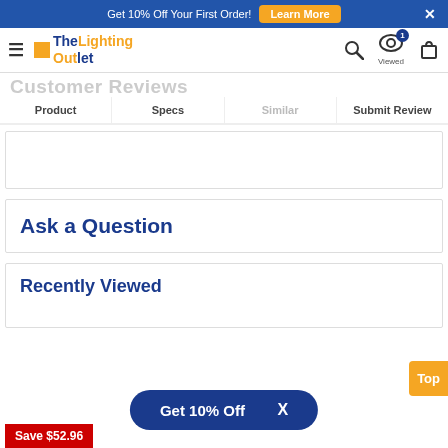Get 10% Off Your First Order!  Learn More  X
[Figure (logo): The Lighting Outlet logo with hamburger menu, search icon, viewed icon with badge, and cart icon]
Product  Specs  Similar  Submit Review
Customer Reviews
Ask a Question
Recently Viewed
Get 10% Off  X
Save $52.96
Top